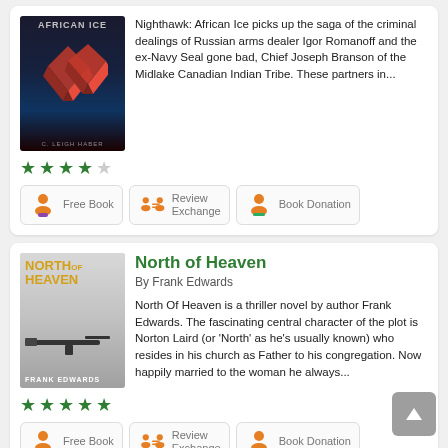[Figure (illustration): Book cover for 'African Ice' with dark background and red diamonds]
Nighthawk: African Ice picks up the saga of the criminal dealings of Russian arms dealer Igor Romanoff and the ex-Navy Seal gone bad, Chief Joseph Branson of the Midlake Canadian Indian Tribe. These partners in...
[Figure (illustration): 5-star rating: 4 filled green stars and 1 empty gray star]
Free Book | Review Exchange | Book Donation
[Figure (illustration): Book cover for 'North of Heaven' by Frank Edwards, with orange/gold title text and a rifle on white background]
North of Heaven
By Frank Edwards
North Of Heaven is a thriller novel by author Frank Edwards. The fascinating central character of the plot is Norton Laird (or 'North' as he's usually known) who resides in his church as Father to his congregation. Now happily married to the woman he always...
[Figure (illustration): 5-star rating: 5 filled green stars]
Free Book | Review Exchange | Book Donation
Nighthawks at the Mission